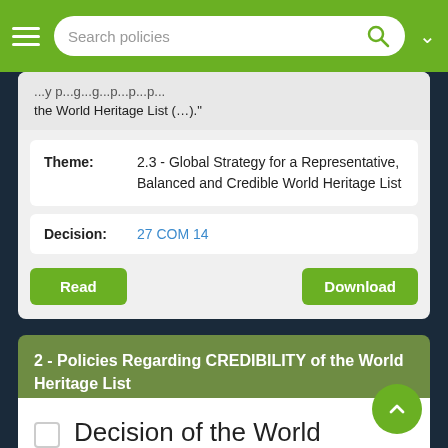Search policies
...the World Heritage List (…)."
| Field | Value |
| --- | --- |
| Theme: | 2.3 - Global Strategy for a Representative, Balanced and Credible World Heritage List |
| Decision: | 27 COM 14 |
Read    Download
2 - Policies Regarding CREDIBILITY of the World Heritage List
Decision of the World Heritage Committee 35 COM 12B